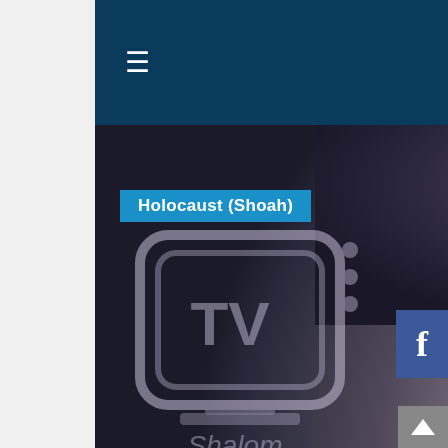≡  🔍
[Figure (photo): Screenshot of Shalom Adventure TV website showing a black and white photo of a young boy (Roland Levi) overlaid with the Shalom Adventure TV logo, a category badge reading 'Holocaust (Shoah)', and a title 'Roland Levi Holocaust Survivor Testimony'. A Facebook share button appears on the right side.]
Roland Levi Holocaust Survivor Testimony